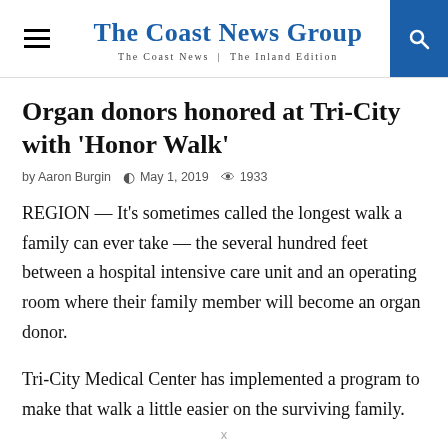The Coast News Group — The Coast News | The Inland Edition
Organ donors honored at Tri-City with 'Honor Walk'
by Aaron Burgin  May 1, 2019  1933
REGION — It's sometimes called the longest walk a family can ever take — the several hundred feet between a hospital intensive care unit and an operating room where their family member will become an organ donor.
Tri-City Medical Center has implemented a program to make that walk a little easier on the surviving family.